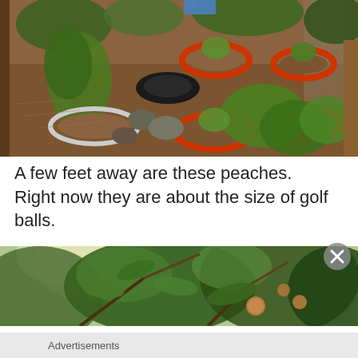[Figure (photo): Garden bed with plants growing in containers including orange and white rings, black tire, and raised wooden beds, viewed from above.]
A few feet away are these peaches. Right now they are about the size of golf balls.
[Figure (photo): Peach tree branches with leaves and small peaches visible, looking up through the canopy.]
Advertisements